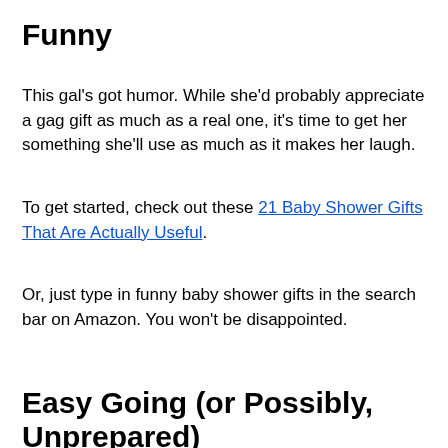Funny
This gal's got humor. While she'd probably appreciate a gag gift as much as a real one, it's time to get her something she'll use as much as it makes her laugh.
To get started, check out these 21 Baby Shower Gifts That Are Actually Useful.
Or, just type in funny baby shower gifts in the search bar on Amazon. You won't be disappointed.
Easy Going (or Possibly, Unprepared)
For this mom-to-be, almost any gift will do. BUT, if she's a go-with-the-flow, let's just see what happens kind of gal, a well-